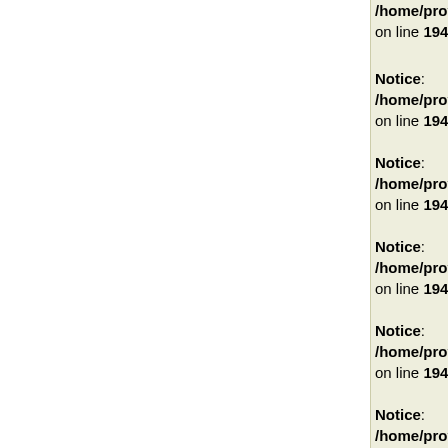/home/provider/data/www/providernet.ru/incl on line 1949
Notice: Undefined variable: /home/provider/data/www/providernet.ru/incl on line 1949
Notice: Undefined variable: /home/provider/data/www/providernet.ru/incl on line 1949
Notice: Undefined variable: /home/provider/data/www/providernet.ru/incl on line 1949
Notice: Undefined variable: /home/provider/data/www/providernet.ru/incl on line 1949
Notice: Undefined variable: /home/provider/data/www/providernet.ru/incl on line 1949
Notice: Undefined variable: /home/provider/data/www/providernet.ru/incl on line 1949
Notice: Undefined variable: /home/provider/data/www/providernet.ru/incl on line 1949